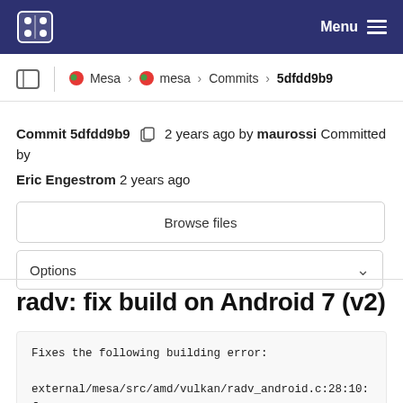Menu
Mesa > mesa > Commits > 5dfdd9b9
Commit 5dfdd9b9  2 years ago by maurossi Committed by Eric Engestrom 2 years ago
Browse files
Options
radv: fix build on Android 7 (v2)
Fixes the following building error:

external/mesa/src/amd/vulkan/radv_android.c:28:10: f
'vndk/hardware_buffer.h' file not found
         ^~~~~~~~~~~~~~~~~~~~~~~~